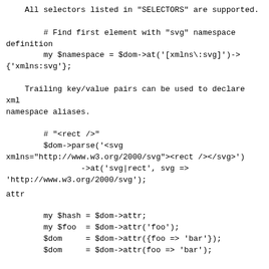All selectors listed in "SELECTORS" are supported.

        # Find first element with "svg" namespace definition
        my $namespace = $dom->at('[xmlns\:svg]')->
{'xmlns:svg'};

    Trailing key/value pairs can be used to declare xml
namespace aliases.

        # "<rect />"
        $dom->parse('<svg
xmlns="http://www.w3.org/2000/svg"><rect /></svg>')
                ->at('svg|rect', svg =>
'http://www.w3.org/2000/svg');
attr
my $hash = $dom->attr;
        my $foo  = $dom->attr('foo');
        $dom     = $dom->attr({foo => 'bar'});
        $dom     = $dom->attr(foo => 'bar');

    This element's attributes.

        # Remove an attribute
        delete $dom->attr->{id};

        # Attribute without value
        $dom->attr(selected => undef);